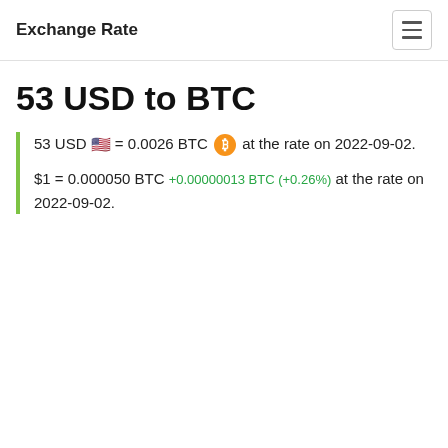Exchange Rate
53 USD to BTC
53 USD 🇺🇸 = 0.0026 BTC ₿ at the rate on 2022-09-02. $1 = 0.000050 BTC +0.00000013 BTC (+0.26%) at the rate on 2022-09-02.